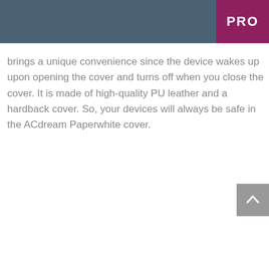PRO
brings a unique convenience since the device wakes up upon opening the cover and turns off when you close the cover. It is made of high-quality PU leather and a hardback cover. So, your devices will always be safe in the ACdream Paperwhite cover.